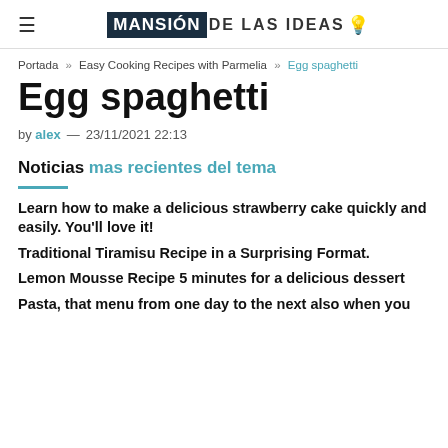MANSIÓN DE LAS IDEAS 💡
Portada » Easy Cooking Recipes with Parmelia » Egg spaghetti
Egg spaghetti
by alex — 23/11/2021 22:13
Noticias mas recientes del tema
Learn how to make a delicious strawberry cake quickly and easily. You'll love it!
Traditional Tiramisu Recipe in a Surprising Format.
Lemon Mousse Recipe 5 minutes for a delicious dessert
Pasta, that menu from one day to the next also when you